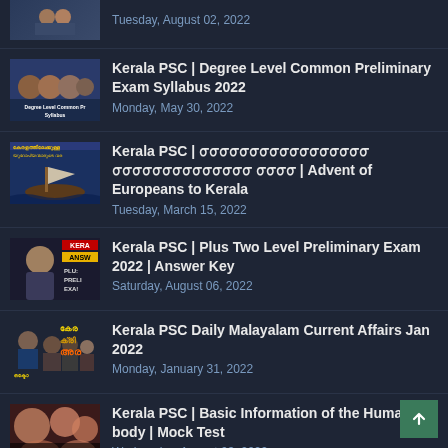Tuesday, August 02, 2022
Kerala PSC | Degree Level Common Preliminary Exam Syllabus 2022 — Monday, May 30, 2022
Kerala PSC | [Malayalam text] | Advent of Europeans to Kerala — Tuesday, March 15, 2022
Kerala PSC | Plus Two Level Preliminary Exam 2022 | Answer Key — Saturday, August 06, 2022
Kerala PSC Daily Malayalam Current Affairs Jan 2022 — Monday, January 31, 2022
Kerala PSC | Basic Information of the Human body | Mock Test — Wednesday, August 03, 2022